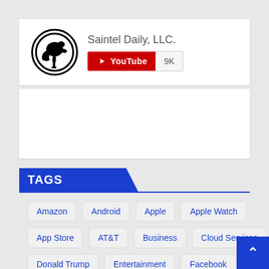[Figure (logo): Saintel Daily LLC YouTube channel card with circular dragon logo and YouTube subscribe button showing 9K subscribers]
[Figure (other): White advertisement placeholder box]
TAGS
Amazon
Android
Apple
Apple Watch
App Store
AT&T
Business
Cloud Services
Donald Trump
Entertainment
Facebook
Games
Games
Gaming
Google
Health
Instagram